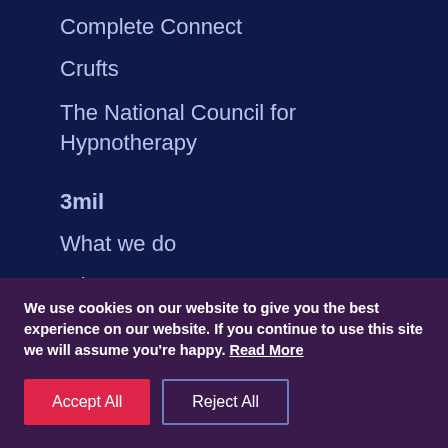Complete Connect
Crufts
The National Council for Hypnotherapy
3mil
What we do
Who we are
We use cookies on our website to give you the best experience on our website. If you continue to use this site we will assume you're happy. Read More
Accept All | Reject All